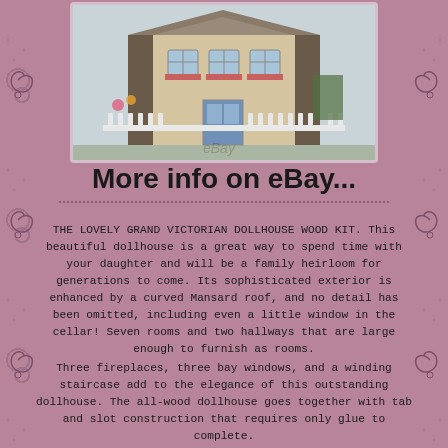[Figure (photo): Photograph of a Grand Victorian Dollhouse wood kit showing the exterior with white picket fence, windows with flower boxes, and eBay watermark]
More info on eBay...
THE LOVELY GRAND VICTORIAN DOLLHOUSE WOOD KIT. This beautiful dollhouse is a great way to spend time with your daughter and will be a family heirloom for generations to come. Its sophisticated exterior is enhanced by a curved Mansard roof, and no detail has been omitted, including even a little window in the cellar! Seven rooms and two hallways that are large enough to furnish as rooms.
Three fireplaces, three bay windows, and a winding staircase add to the elegance of this outstanding dollhouse. The all-wood dollhouse goes together with tab and slot construction that requires only glue to complete.